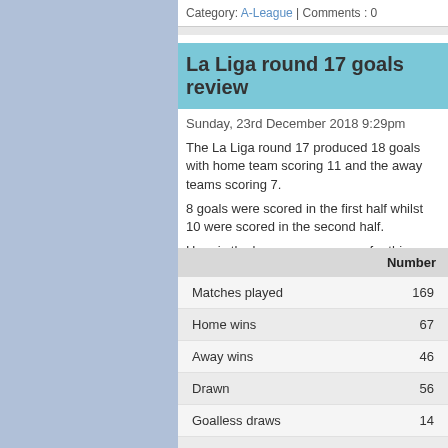Category: A-League | Comments : 0
La Liga round 17 goals review
Sunday, 23rd December 2018 9:29pm
The La Liga round 17 produced 18 goals with home team scoring 11 and the away teams scoring 7.
8 goals were scored in the first half whilst 10 were scored in the second half.
Here is the league summary so far this season:
|  | Number |
| --- | --- |
| Matches played | 169 |
| Home wins | 67 |
| Away wins | 46 |
| Drawn | 56 |
| Goalless draws | 14 |
| Goals | 427 |
| Goals/game | 2.5 |
| First half goals | 170 |
| Second half goals | 257 |
| Home team goals | 231 |
| Away team goals | 196 |